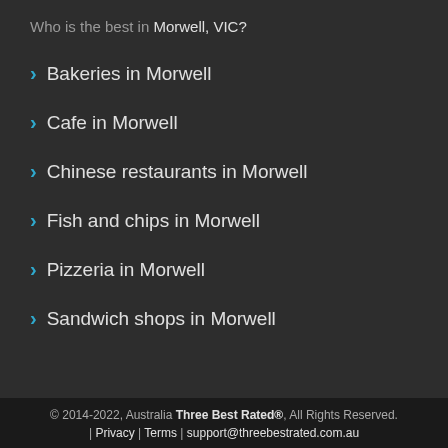Who is the best in Morwell, VIC?
Bakeries in Morwell
Cafe in Morwell
Chinese restaurants in Morwell
Fish and chips in Morwell
Pizzeria in Morwell
Sandwich shops in Morwell
© 2014-2022, Australia Three Best Rated®, All Rights Reserved. | Privacy | Terms | support@threebestrated.com.au